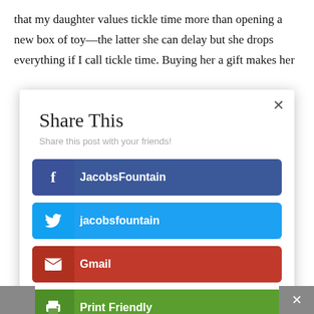that my daughter values tickle time more than opening a new box of toy—the latter she can delay but she drops everything if I call tickle time. Buying her a gift makes her
[Figure (screenshot): A 'Share This' modal dialog with social sharing buttons: Facebook (JacobsFountain), Twitter (jacobsfountain), Gmail, Print Friendly, and Like. Has a close X button in the top right corner.]